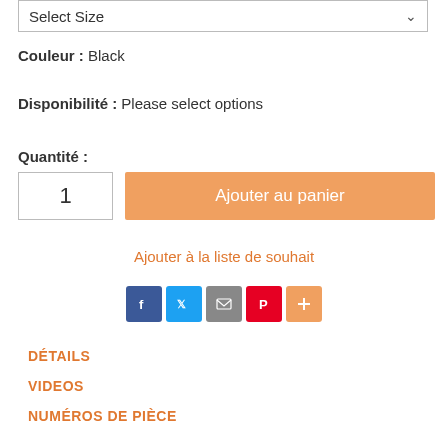Select Size
Couleur :  Black
Disponibilité :  Please select options
Quantité :
1
Ajouter au panier
Ajouter à la liste de souhait
[Figure (other): Social share icons: Facebook (blue), Twitter (blue), Email (grey), Pinterest (red), More/Plus (orange)]
DÉTAILS
VIDEOS
NUMÉROS DE PIÈCE